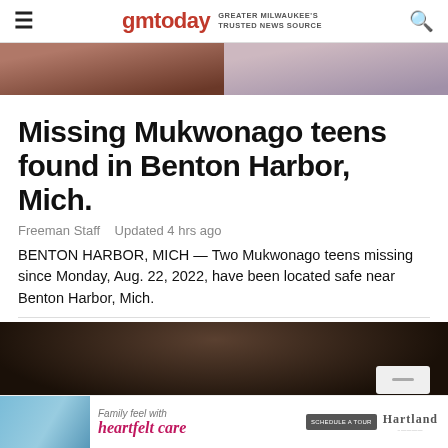gmtoday GREATER MILWAUKEE'S TRUSTED NEWS SOURCE
[Figure (photo): Two-panel photo at top: left side shows a person with dark hair, right side shows a person in lighter clothing]
Missing Mukwonago teens found in Benton Harbor, Mich.
Freeman Staff   Updated 4 hrs ago
BENTON HARBOR, MICH — Two Mukwonago teens missing since Monday, Aug. 22, 2022, have been located safe near Benton Harbor, Mich.
[Figure (photo): Dark background photo of a person (man) partially visible, with a white/grey overlay element in the lower right]
[Figure (photo): Advertisement banner: Family feel with heartfelt care - Hartland. Shows caregivers with elderly person. Schedule a Tour button.]